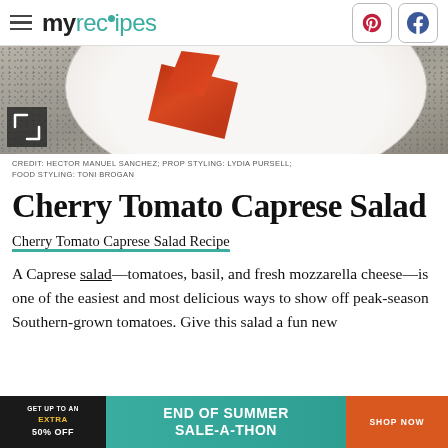myrecipes — Pinterest, Facebook nav icons
[Figure (photo): Close-up food photo showing a plate with cherry tomato caprese salad — white plate edge visible with red tomato pieces against a textured dark background.]
CREDIT: HECTOR MANUEL SANCHEZ; PROP STYLING: LYDIA PURSELL; FOOD STYLING: TONI BROGAN
Cherry Tomato Caprese Salad
Cherry Tomato Caprese Salad Recipe
A Caprese salad—tomatoes, basil, and fresh mozzarella cheese—is one of the easiest and most delicious ways to show off peak-season Southern-grown tomatoes. Give this salad a fun new
[Figure (other): Advertisement banner: GET UP TO AN EXTRA 50% OFF | END OF SUMMER SALE-A-THON | SHOP NOW]